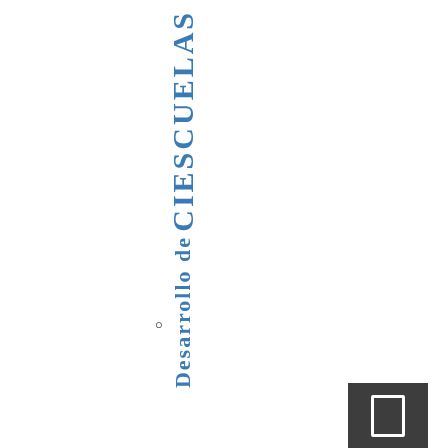CIESCUELAS Desarrollo de
[Figure (other): Navigation button with document icon in dark gray box at bottom right corner]